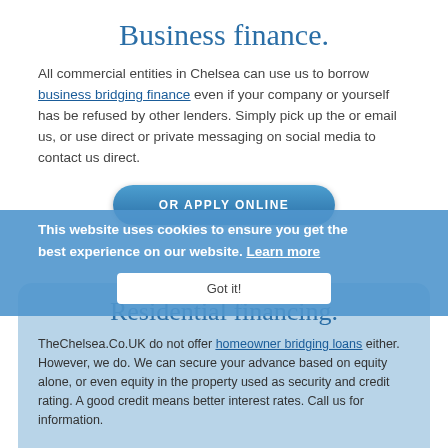Business finance.
All commercial entities in Chelsea can use us to borrow business bridging finance even if your company or yourself has be refused by other lenders. Simply pick up the or email us, or use direct or private messaging on social media to contact us direct.
OR APPLY ONLINE
Residential financing.
TheChelsea.Co.UK do not offer homeowner bridging loans either. However, we do. We can secure your advance based on equity alone, or even equity in the property used as security and credit rating. A good credit means better interest rates. Call us for information.